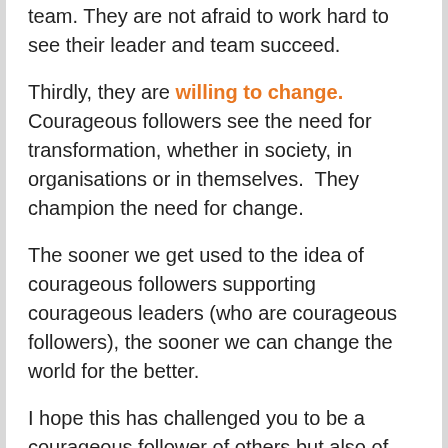team. They are not afraid to work hard to see their leader and team succeed.
Thirdly, they are willing to change. Courageous followers see the need for transformation, whether in society, in organisations or in themselves. They champion the need for change.
The sooner we get used to the idea of courageous followers supporting courageous leaders (who are courageous followers), the sooner we can change the world for the better.
I hope this has challenged you to be a courageous follower of others but also of dreams and visions bigger than yourself and your present reality.
I have a dream that one day there will be a cure for MND / ALS. For me to realise that dream I must